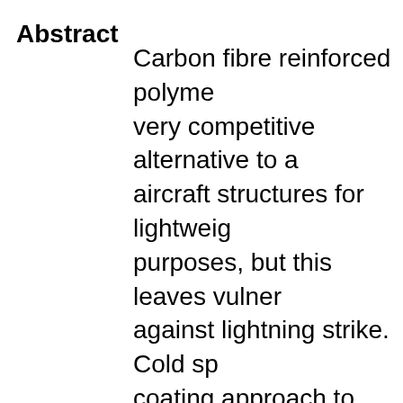Abstract   Carbon fibre reinforced polymer (CFRP) composites are a very competitive alternative to aluminium alloys in aircraft structures for lightweight and strength purposes, but this leaves vulnerable the aircraft against lightning strike. Cold spray is a solid-state coating approach to metallize the CFRPs, making them lightning strike protected. The purpose of this work is to investigate the feasibility of metallizing aircraft quality CFRPs with cold spray. Copper, aluminum and tin powders were sprayed onto the CFRPs with both a high-pressure and a low-pressure cold spray system. A number of different combinations of the gas pressure and gas preheating temperature were used for the cold spray process. Erosion was found to b...